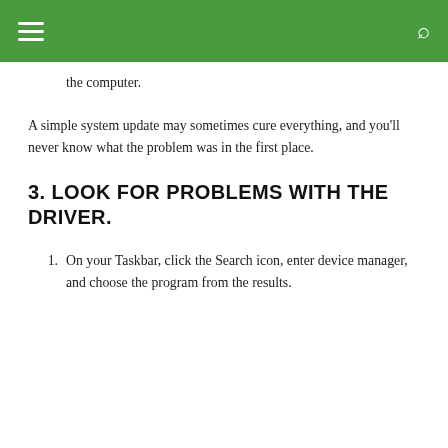the computer.
A simple system update may sometimes cure everything, and you'll never know what the problem was in the first place.
3. LOOK FOR PROBLEMS WITH THE DRIVER.
On your Taskbar, click the Search icon, enter device manager, and choose the program from the results.